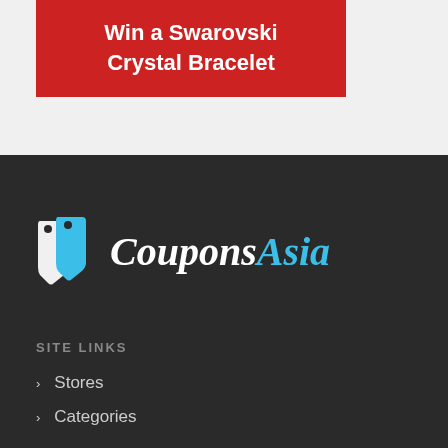Win a Swarovski Crystal Bracelet
[Figure (logo): CouponsAsia logo with tag icon, white italic 'Coupons' and blue italic 'Asia' text on dark background]
SITE LINKS
Stores
Categories